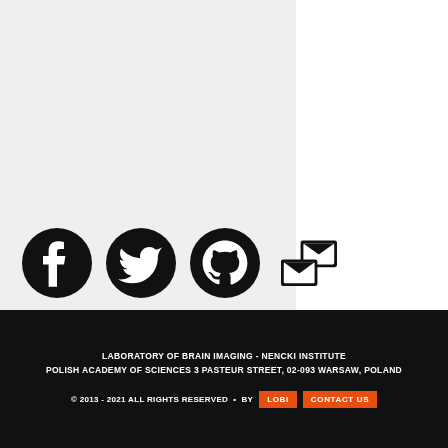[Figure (illustration): Social media icons: Facebook, Twitter, GitHub, and email/newsletter icon, displayed as black silhouettes on a light gray background]
LABORATORY OF BRAIN IMAGING - NENCKI INSTITUTE POLISH ACADEMY OF SCIENCES 3 PASTEUR STREET, 02-093 WARSAW, POLAND © 2013 - 2021 ALL RIGHTS RESERVED • BY LOBI CONTACT US